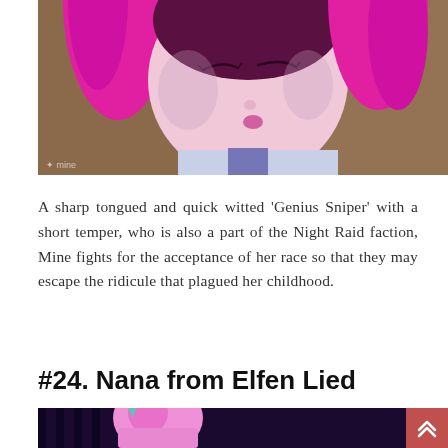[Figure (illustration): Anime character illustration — a girl with short dark purple/maroon hair and bright pink twin-tail highlights, eyes closed, wearing a light lavender/white outfit with dark purple collar, viewed from below chin angle. Background is rocky/brown.]
A sharp tongued and quick witted 'Genius Sniper' with a short temper, who is also a part of the Night Raid faction, Mine fights for the acceptance of her race so that they may escape the ridicule that plagued her childhood.
#24. Nana from Elfen Lied
[Figure (illustration): Anime character illustration — a girl with pink hair and light blue/teal cat ear accessory, wearing a pink/lavender outfit, partially visible, dark background with vertical bars. Partially cropped at bottom of page.]